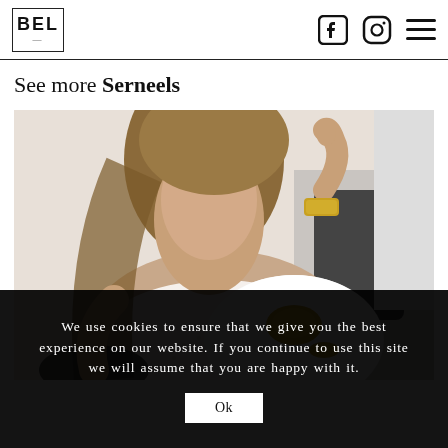BEL [logo] | Facebook icon | Instagram icon | Menu icon
See more Serneels
[Figure (photo): A young woman with long brown hair wearing a white eyelet sleeveless top and a gold cuff bracelet, holding a small object near her face, seated in a studio-style setting with a white round object in the foreground and a black chair visible in the background.]
We use cookies to ensure that we give you the best experience on our website. If you continue to use this site we will assume that you are happy with it.